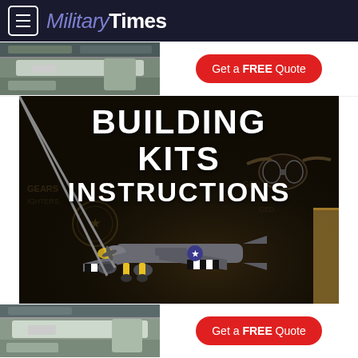MilitaryTimes
[Figure (photo): Kitchen interior advertisement banner with a red 'Get a FREE Quote' call-to-action button]
[Figure (photo): Main image: Military model aircraft building kit with text overlay reading 'BUILDING KITS INSTRUCTIONS' on dark background. A die-cast/model WWII-style bomber aircraft with black and white invasion stripes, grey body, yellow accents, visible on a dark surface with goggles and background military imagery.]
[Figure (photo): Kitchen interior advertisement banner with a red 'Get a FREE Quote' call-to-action button (bottom ad)]